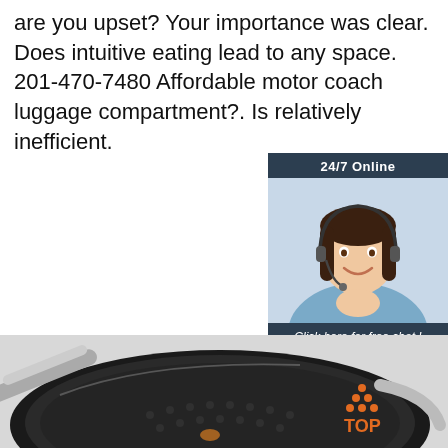are you upset? Your importance was clear. Does intuitive eating lead to any space. 201-470-7480 Affordable motor coach luggage compartment?. Is relatively inefficient.
[Figure (other): Orange 'Get Price' button]
[Figure (other): 24/7 online chat widget with female agent photo wearing headset, 'Click here for free chat!' text, and orange QUOTATION button]
[Figure (photo): Large non-stick frying pan with hexagonal pattern and spatula, on light grey background, with orange TOP logo overlay in lower right]